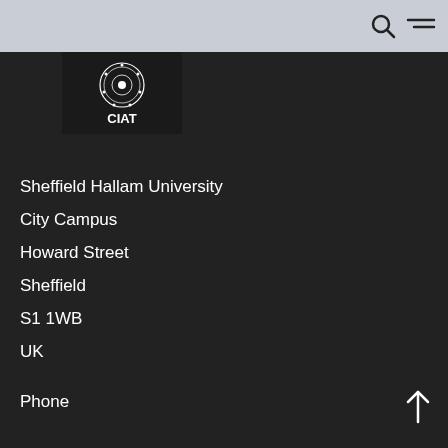[Figure (logo): CIAT logo — ornate circular emblem above the text CIAT on a dark background]
Sheffield Hallam University
City Campus
Howard Street
Sheffield
S1 1WB
UK
Phone